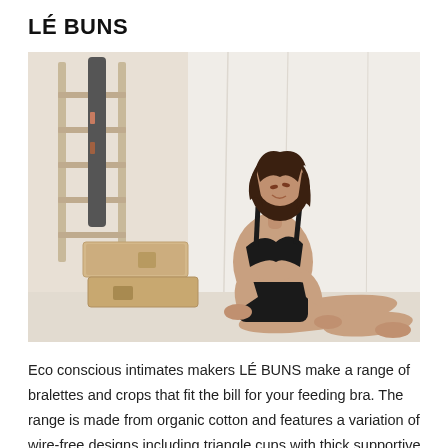LÉ BUNS
[Figure (photo): A woman wearing black bralette and black high-waisted underwear, sitting on the floor against a white draped backdrop, surrounded by wooden boxes and a ladder in the background.]
Eco conscious intimates makers LÉ BUNS make a range of bralettes and crops that fit the bill for your feeding bra. The range is made from organic cotton and features a variation of wire-free designs including triangle cups with thick supportive straps, a more classic